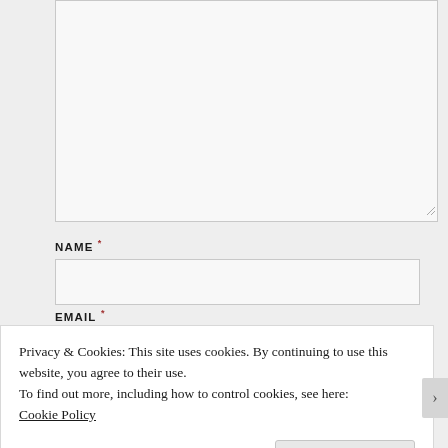[Figure (screenshot): A web form textarea (large empty input box) with a resize handle at the bottom-right corner, on a light gray background.]
NAME *
[Figure (screenshot): A web form text input field for NAME, empty, with light gray background and border.]
EMAIL *
Privacy & Cookies: This site uses cookies. By continuing to use this website, you agree to their use.
To find out more, including how to control cookies, see here:
Cookie Policy
Close and accept